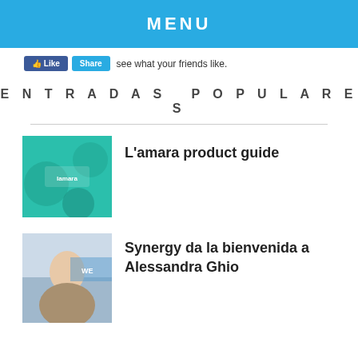MENU
Like   Share   see what your friends like.
ENTRADAS POPULARES
[Figure (photo): Thumbnail image of a teal/green booklet — L'amara product guide cover]
L'amara product guide
[Figure (photo): Thumbnail photo of a woman smiling in front of a wall with 'WE' text visible — Alessandra Ghio]
Synergy da la bienvenida a Alessandra Ghio